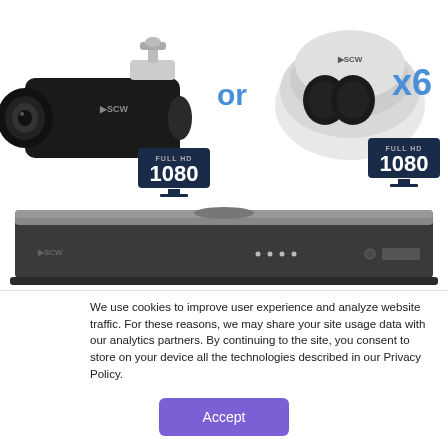[Figure (photo): SCW bullet camera (Full HD 1080) and dome camera (Full HD 1080) with 'or' text between them and 'x6' label. Below is an SCW NVR/DVR unit.]
We use cookies to improve user experience and analyze website traffic. For these reasons, we may share your site usage data with our analytics partners. By continuing to the site, you consent to store on your device all the technologies described in our Privacy Policy.
Accept